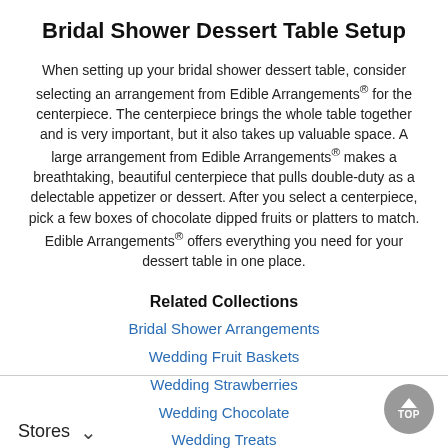Bridal Shower Dessert Table Setup
When setting up your bridal shower dessert table, consider selecting an arrangement from Edible Arrangements® for the centerpiece. The centerpiece brings the whole table together and is very important, but it also takes up valuable space. A large arrangement from Edible Arrangements® makes a breathtaking, beautiful centerpiece that pulls double-duty as a delectable appetizer or dessert. After you select a centerpiece, pick a few boxes of chocolate dipped fruits or platters to match. Edible Arrangements® offers everything you need for your dessert table in one place.
Related Collections
Bridal Shower Arrangements
Wedding Fruit Baskets
Wedding Strawberries
Wedding Chocolate
Wedding Treats
Stores